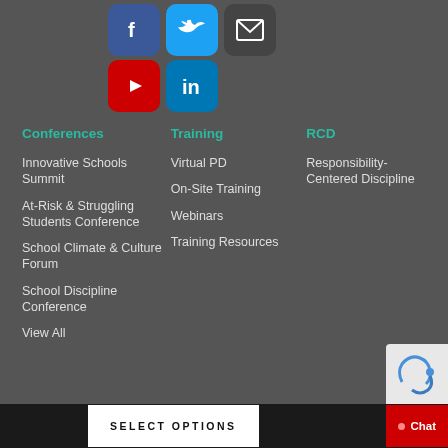[Figure (illustration): Social media icons row 1: Facebook (blue), Twitter (light blue), Email (dark grey)]
[Figure (illustration): Social media icons row 2: YouTube (red), LinkedIn (blue)]
Conferences
Innovative Schools Summit
At-Risk & Struggling Students Conference
School Climate & Culture Forum
School Discipline Conference
View All
Training
Virtual PD
On-Site Training
Webinars
Training Resources
RCD
Responsibility-Centered Discipline
SELECT OPTIONS
Chat